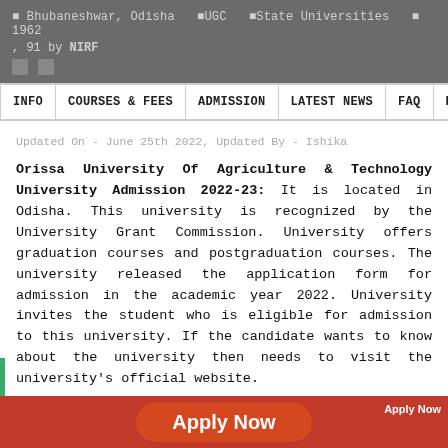Bhubaneshwar, Odisha  UGC  State Universities  1962
, 91 by NIRF
INFO  COURSES & FEES  ADMISSION  LATEST NEWS  FAQ  PLA
Updated On - June 25th 2022, Updated By - Ishika
Orissa University Of Agriculture & Technology University Admission 2022-23: It is located in Odisha. This university is recognized by the University Grant Commission. University offers graduation courses and postgraduation courses. The university released the application form for admission in the academic year 2022. University invites the student who is eligible for admission to this university. If the candidate wants to know about the university then needs to visit the university's official website.